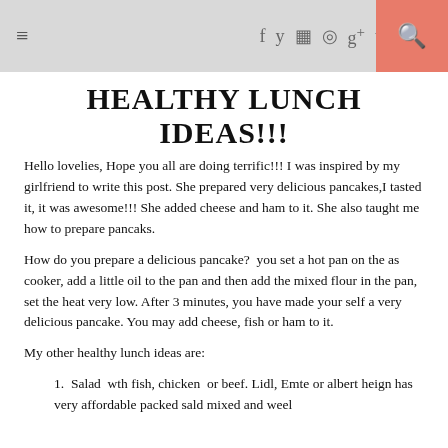≡  f  twitter  instagram  pinterest  g+  tumblr  youtube  🔍
HEALTHY LUNCH IDEAS!!!
Hello lovelies, Hope you all are doing terrific!!! I was inspired by my girlfriend to write this post. She prepared very delicious pancakes,I tasted it, it was awesome!!! She added cheese and ham to it. She also taught me how to prepare pancaks.
How do you prepare a delicious pancake?  you set a hot pan on the as cooker, add a little oil to the pan and then add the mixed flour in the pan, set the heat very low. After 3 minutes, you have made your self a very delicious pancake. You may add cheese, fish or ham to it.
My other healthy lunch ideas are:
Salad  wth fish, chicken  or beef. Lidl, Emte or albert heign has very affordable packed sald mixed and weel